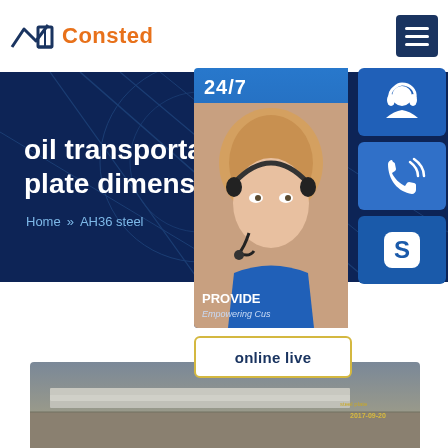Consted
oil transportation s35 plate dimensions
Home >> AH36 steel
[Figure (screenshot): 24/7 customer support banner with a woman wearing a headset, alongside blue icon buttons for customer service, phone, and Skype, and an 'online live' button. Text reads: 24/7, PROVIDE, Empowering Customers]
[Figure (photo): Bottom photo showing steel plates in an industrial outdoor setting, partially visible]